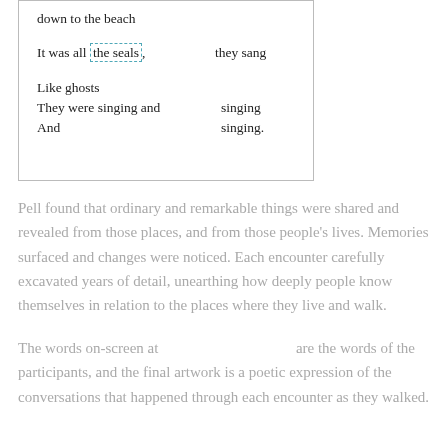[Figure (other): A bordered box containing poem lines: 'down to the beach', 'It was all the seals, [gap] they sang', 'Like ghosts', 'They were singing and [gap] singing', 'And [gap] singing.']
Pell found that ordinary and remarkable things were shared and revealed from those places, and from those people's lives. Memories surfaced and changes were noticed. Each encounter carefully excavated years of detail, unearthing how deeply people know themselves in relation to the places where they live and walk.
The words on-screen at [redacted] are the words of the participants, and the final artwork is a poetic expression of the conversations that happened through each encounter as they walked.